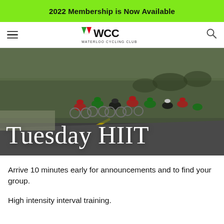2022 Membership is Now Available
[Figure (logo): Waterloo Cycling Club (WCC) logo with hamburger menu icon on left and search icon on right]
[Figure (photo): Group of cyclists riding on a road with fields in background, with 'Tuesday HIIT' text overlay]
Tuesday HIIT
Arrive 10 minutes early for announcements and to find your group.
High intensity interval training.